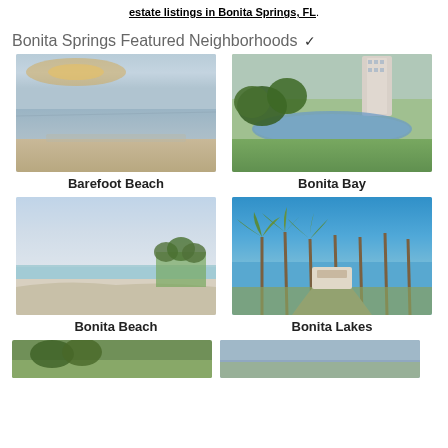estate listings in Bonita Springs, FL.
Bonita Springs Featured Neighborhoods
[Figure (photo): Aerial/beach sunset view of Barefoot Beach, Florida]
Barefoot Beach
[Figure (photo): Golf course with lake and high-rise building at Bonita Bay]
Bonita Bay
[Figure (photo): Sandy beach with blue sky at Bonita Beach]
Bonita Beach
[Figure (photo): Entrance with palm trees and landscaping at Bonita Lakes]
Bonita Lakes
[Figure (photo): Partial view of two more neighborhood photos at bottom]
[Figure (photo): Partial view of neighborhood photo at bottom right]